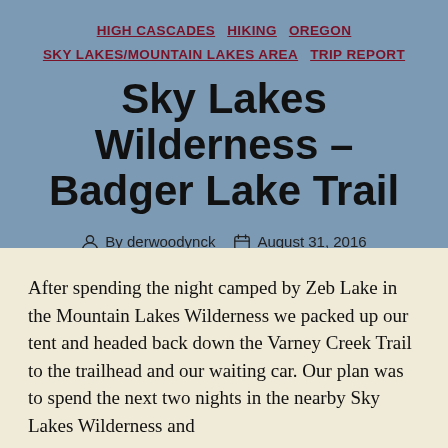HIGH CASCADES  HIKING  OREGON  SKY LAKES/MOUNTAIN LAKES AREA  TRIP REPORT
Sky Lakes Wilderness – Badger Lake Trail
By derwoodynck   August 31, 2016   6 Comments
After spending the night camped by Zeb Lake in the Mountain Lakes Wilderness we packed up our tent and headed back down the Varney Creek Trail to the trailhead and our waiting car. Our plan was to spend the next two nights in the nearby Sky Lakes Wilderness and